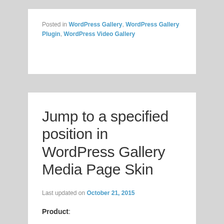Posted in WordPress Gallery, WordPress Gallery Plugin, WordPress Video Gallery
Jump to a specified position in WordPress Gallery Media Page Skin
Last updated on October 21, 2015
Product: